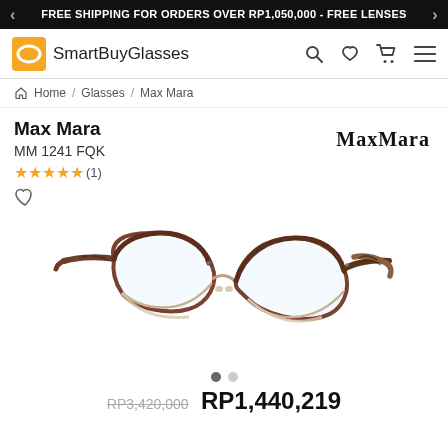FREE SHIPPING FOR ORDERS OVER RP1,050,000 - FREE LENSES
[Figure (logo): SmartBuyGlasses logo with orange glasses icon]
Home / Glasses / Max Mara
Max Mara
MM 1241 FQK
★★★★★ (1)
[Figure (logo): MaxMara brand logo text]
[Figure (photo): Max Mara MM 1241 FQK eyeglasses - brown/tortoise cat-eye frames with metal lower rim, tortoiseshell temples]
RP3,420,000  RP1,440,219